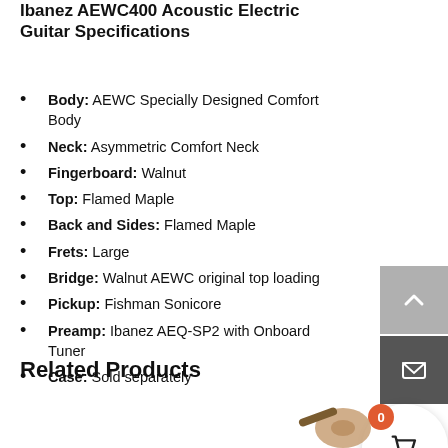Ibanez AEWC400 Acoustic Electric Guitar Specifications
Body: AEWC Specially Designed Comfort Body
Neck: Asymmetric Comfort Neck
Fingerboard: Walnut
Top: Flamed Maple
Back and Sides: Flamed Maple
Frets: Large
Bridge: Walnut AEWC original top loading
Pickup: Fishman Sonicore
Preamp: Ibanez AEQ-SP2 with Onboard Tuner
Case: Sold separately
Related Products